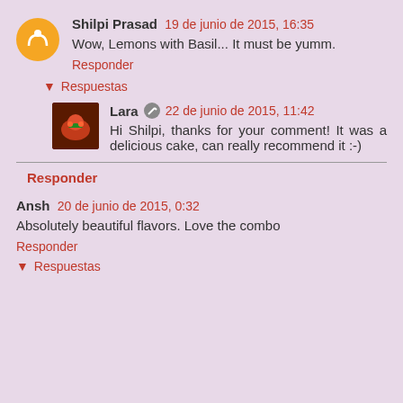Shilpi Prasad 19 de junio de 2015, 16:35
Wow, Lemons with Basil... It must be yumm.
Responder
Respuestas
Lara 22 de junio de 2015, 11:42
Hi Shilpi, thanks for your comment! It was a delicious cake, can really recommend it :-)
Responder
Ansh 20 de junio de 2015, 0:32
Absolutely beautiful flavors. Love the combo
Responder
Respuestas